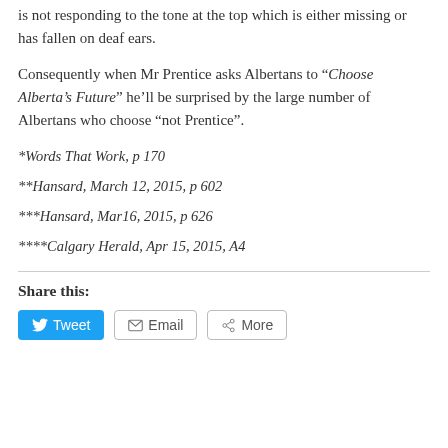is not responding to the tone at the top which is either missing or has fallen on deaf ears.
Consequently when Mr Prentice asks Albertans to “Choose Alberta’s Future” he’ll be surprised by the large number of Albertans who choose “not Prentice”.
*Words That Work, p 170
**Hansard, March 12, 2015, p 602
***Hansard, Mar16, 2015, p 626
****Calgary Herald, Apr 15, 2015, A4
Share this:
Tweet  Email  More